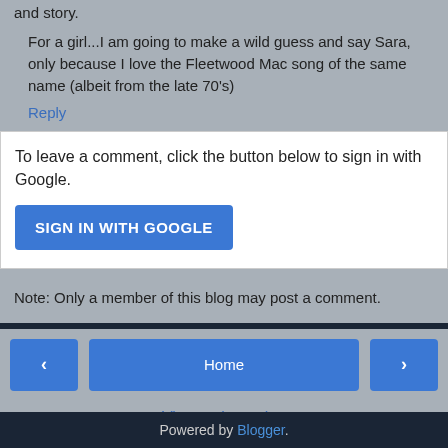and story.
For a girl...I am going to make a wild guess and say Sara, only because I love the Fleetwood Mac song of the same name (albeit from the late 70's)
Reply
To leave a comment, click the button below to sign in with Google.
SIGN IN WITH GOOGLE
Note: Only a member of this blog may post a comment.
Home
View web version
Powered by Blogger.